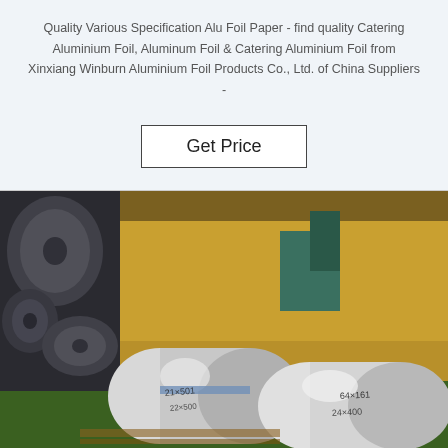Quality Various Specification Alu Foil Paper - find quality Catering Aluminium Foil, Aluminum Foil & Catering Aluminium Foil from Xinxiang Winburn Aluminium Foil Products Co., Ltd. of China Suppliers -
[Figure (other): Button labeled 'Get Price' with thin border rectangle]
[Figure (photo): Photo of large aluminum foil rolls stored in a warehouse, with handwritten labels on the rolls and cardboard/wooden pallet in background. Several shiny silver foil rolls of various sizes visible.]